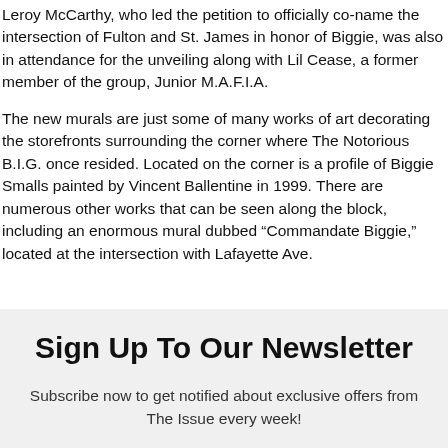Leroy McCarthy, who led the petition to officially co-name the intersection of Fulton and St. James in honor of Biggie, was also in attendance for the unveiling along with Lil Cease, a former member of the group, Junior M.A.F.I.A.
The new murals are just some of many works of art decorating the storefronts surrounding the corner where The Notorious B.I.G. once resided. Located on the corner is a profile of Biggie Smalls painted by Vincent Ballentine in 1999. There are numerous other works that can be seen along the block, including an enormous mural dubbed “Commandate Biggie,” located at the intersection with Lafayette Ave.
Sign Up To Our Newsletter
Subscribe now to get notified about exclusive offers from The Issue every week!